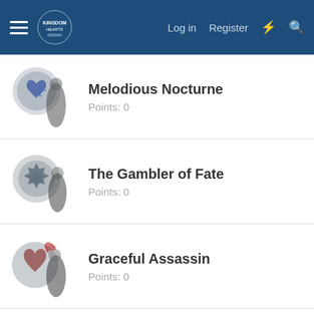Log in  Register
Melodious Nocturne
Points: 0
The Gambler of Fate
Points: 0
Graceful Assassin
Points: 0
Savage Nymph
Points: 0
Key of Destiny
Points: 0